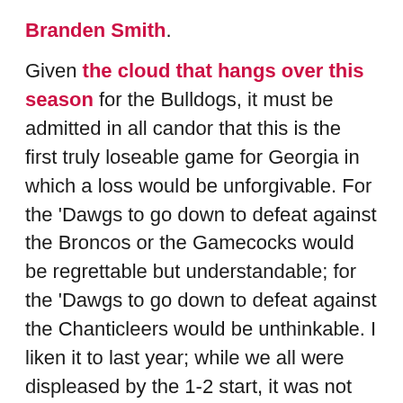Branden Smith. Given the cloud that hangs over this season for the Bulldogs, it must be admitted in all candor that this is the first truly loseable game for Georgia in which a loss would be unforgivable. For the 'Dawgs to go down to defeat against the Broncos or the Gamecocks would be regrettable but understandable; for the 'Dawgs to go down to defeat against the Chanticleers would be unthinkable. I liken it to last year; while we all were displeased by the 1-2 start, it was not until an unexpected and embarrassing loss in the Magnolia State in the campaign's fourth game that the wheels truly began falling off the wagon.